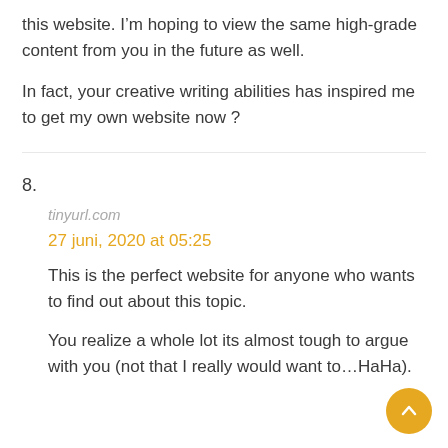this website. I’m hoping to view the same high-grade content from you in the future as well.
In fact, your creative writing abilities has inspired me to get my own website now ?
8.
tinyurl.com
27 juni, 2020 at 05:25
This is the perfect website for anyone who wants to find out about this topic.
You realize a whole lot its almost tough to argue with you (not that I really would want to…HaHa).